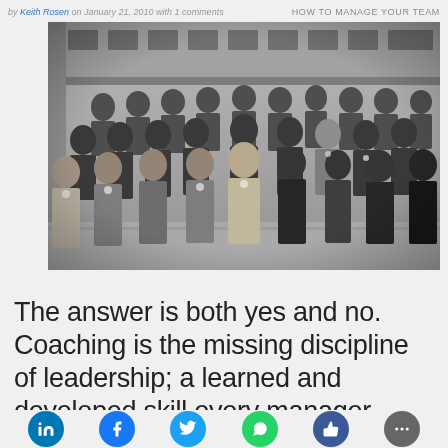by Keith Rosen on January 21, 2010 with 1 comments | HOW TO MANAGE YOUR TEAM
[Figure (photo): Black and white group photo of approximately 25 men and women in business attire, standing in rows in front of a building, wearing name badges.]
The answer is both yes and no. Coaching is the missing discipline of leadership; a learned and developed skill every manager